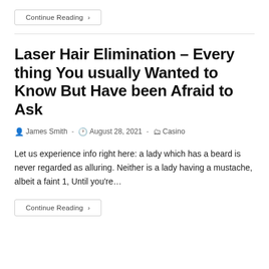Continue Reading ›
Laser Hair Elimination – Every thing You usually Wanted to Know But Have been Afraid to Ask
James Smith · August 28, 2021 · Casino
Let us experience info right here: a lady which has a beard is never regarded as alluring. Neither is a lady having a mustache, albeit a faint 1, Until you're…
Continue Reading ›